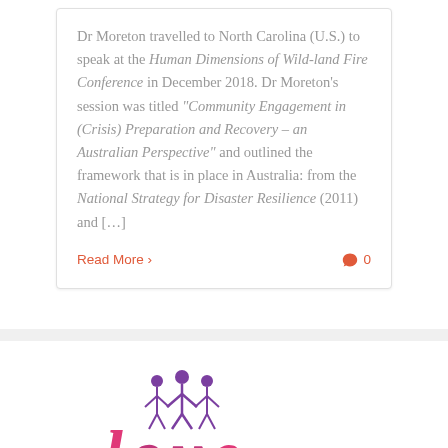Dr Moreton travelled to North Carolina (U.S.) to speak at the Human Dimensions of Wild-land Fire Conference in December 2018. Dr Moreton's session was titled "Community Engagement in (Crisis) Preparation and Recovery – an Australian Perspective" and outlined the framework that is in place in Australia: from the National Strategy for Disaster Resilience (2011) and […]
Read More >
0
[Figure (logo): Partial logo visible at bottom of page showing stylized figures above the word 'love' in pink/magenta and purple colors]